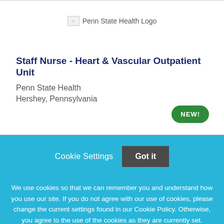[Figure (logo): Penn State Health Logo (broken image placeholder)]
Staff Nurse - Heart & Vascular Outpatient Unit
Penn State Health
Hershey, Pennsylvania
NEW!
Cookie Settings
Got it
We use cookies so that we can remember you and understand how you use our site. If you do not agree with our use of cookies, please change the current settings found in our Cookie Policy. Otherwise, you agree to the use of the cookies as they are currently set.